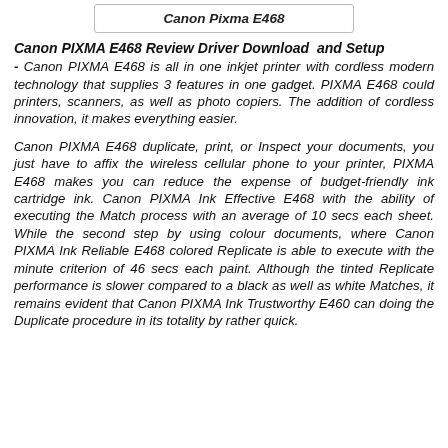Canon Pixma E468
Canon PIXMA E468 Review Driver Download and Setup
- Canon PIXMA E468 is all in one inkjet printer with cordless modern technology that supplies 3 features in one gadget. PIXMA E468 could printers, scanners, as well as photo copiers. The addition of cordless innovation, it makes everything easier.
Canon PIXMA E468 duplicate, print, or Inspect your documents, you just have to affix the wireless cellular phone to your printer, PIXMA E468 makes you can reduce the expense of budget-friendly ink cartridge ink. Canon PIXMA Ink Effective E468 with the ability of executing the Match process with an average of 10 secs each sheet. While the second step by using colour documents, where Canon PIXMA Ink Reliable E468 colored Replicate is able to execute with the minute criterion of 46 secs each paint. Although the tinted Replicate performance is slower compared to a black as well as white Matches, it remains evident that Canon PIXMA Ink Trustworthy E460 can doing the Duplicate procedure in its totality by rather quick.